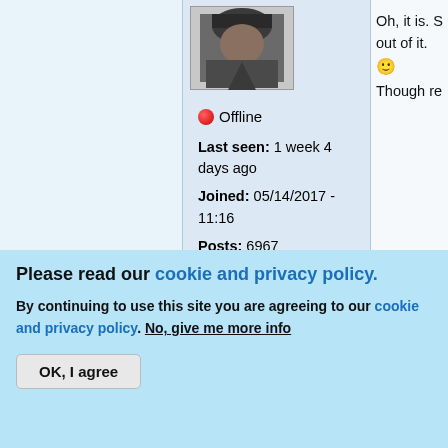[Figure (photo): Forum user avatar - dark/grayscale portrait photo in a bordered box]
🔴 Offline
Last seen: 1 week 4 days ago
Joined: 05/14/2017 - 11:16
Posts: 6967
Location: Ślōnsk
Oh, it is. S out of it. Though re
[Figure (screenshot): Top button - blue rounded button with up arrow and text 'Top']
Thu, 04/04/2019 - 10:12
DB Custom   I have wha
Please read our cookie and privacy policy.
By continuing to use this site you are agreeing to our cookie and privacy policy. No, give me more info
OK, I agree